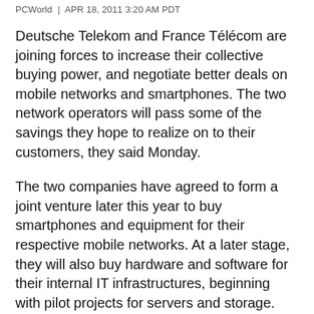PCWorld | APR 18, 2011 3:20 AM PDT
Deutsche Telekom and France Télécom are joining forces to increase their collective buying power, and negotiate better deals on mobile networks and smartphones. The two network operators will pass some of the savings they hope to realize on to their customers, they said Monday.
The two companies have agreed to form a joint venture later this year to buy smartphones and equipment for their respective mobile networks. At a later stage, they will also buy hardware and software for their internal IT infrastructures, beginning with pilot projects for servers and storage. Between them, the companies expect to save around €1.3 billion (US$1.9 billion) per